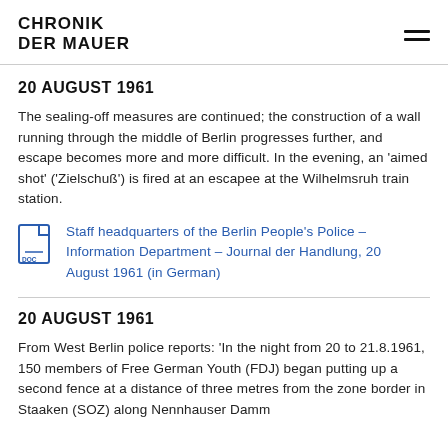CHRONIK DER MAUER
20 AUGUST 1961
The sealing-off measures are continued; the construction of a wall running through the middle of Berlin progresses further, and escape becomes more and more difficult. In the evening, an 'aimed shot' ('Zielschuß') is fired at an escapee at the Wilhelmsruh train station.
Staff headquarters of the Berlin People's Police – Information Department – Journal der Handlung, 20 August 1961 (in German)
20 AUGUST 1961
From West Berlin police reports: 'In the night from 20 to 21.8.1961, 150 members of Free German Youth (FDJ) began putting up a second fence at a distance of three metres from the zone border in Staaken (SOZ) along Nennhauser Damm